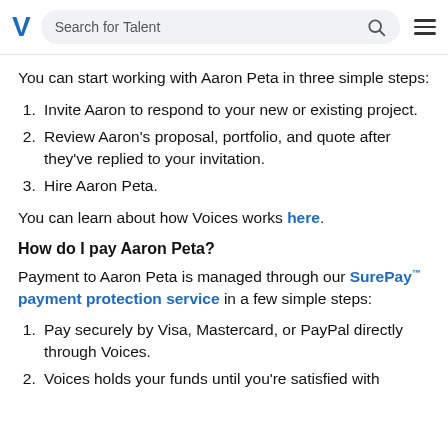Search for Talent
You can start working with Aaron Peta in three simple steps:
Invite Aaron to respond to your new or existing project.
Review Aaron's proposal, portfolio, and quote after they've replied to your invitation.
Hire Aaron Peta.
You can learn about how Voices works here.
How do I pay Aaron Peta?
Payment to Aaron Peta is managed through our SurePay™ payment protection service in a few simple steps:
Pay securely by Visa, Mastercard, or PayPal directly through Voices.
Voices holds your funds until you're satisfied with